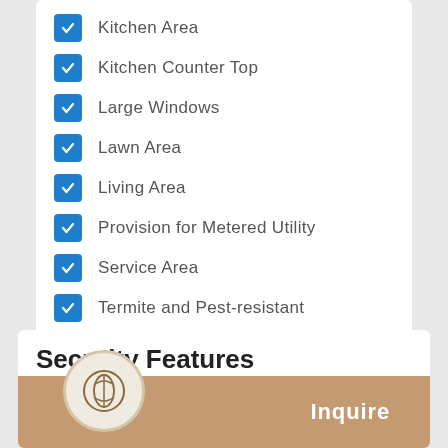Kitchen Area
Kitchen Counter Top
Large Windows
Lawn Area
Living Area
Provision for Metered Utility
Service Area
Termite and Pest-resistant
Toilet & Bath
Security Features
24-hour Se...